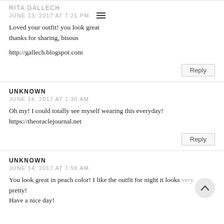RITA GALLECH
JUNE 13, 2017 AT 7:21 PM
Loved your outfit! you look great thanks for sharing, bisous

http://gallech.blogspot.com
UNKNOWN
JUNE 14, 2017 AT 1:30 AM
Oh my! I could totally see myself wearing this everyday!
https://theoraclejournal.net
UNKNOWN
JUNE 14, 2017 AT 7:56 AM
You look great in peach color! I like the outfit for night it looks very pretty!
Have a nice day!